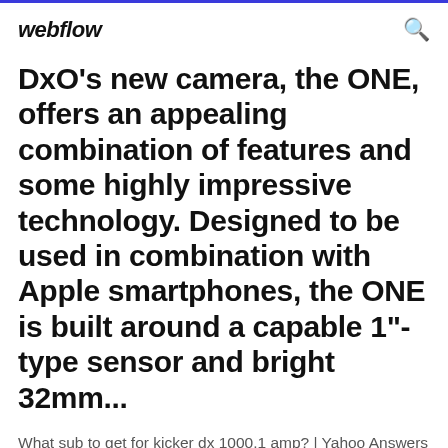webflow
DxO's new camera, the ONE, offers an appealing combination of features and some highly impressive technology. Designed to be used in combination with Apple smartphones, the ONE is built around a capable 1"-type sensor and bright 32mm...
What sub to get for kicker dx 1000.1 amp? | Yahoo Answers Dec 04, 2011 · Hey guys so i finally got an amp for the all KICKER system that im trying to get!! Ita a DX 1000.1 mono amp Its pretty cool and good on size paid over 284 dlls